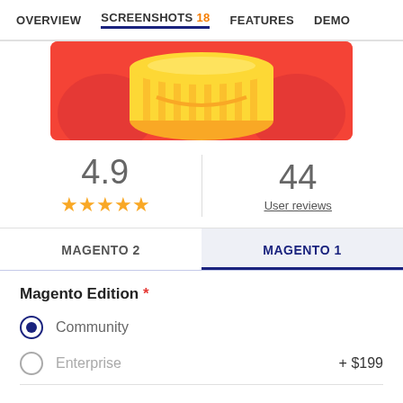OVERVIEW  SCREENSHOTS 18  FEATURES  DEMO
[Figure (illustration): Orange background with gold/yellow coins or barrel illustration]
4.9
★★★★★
44
User reviews
MAGENTO 2
MAGENTO 1
Magento Edition *
Community
Enterprise  + $199